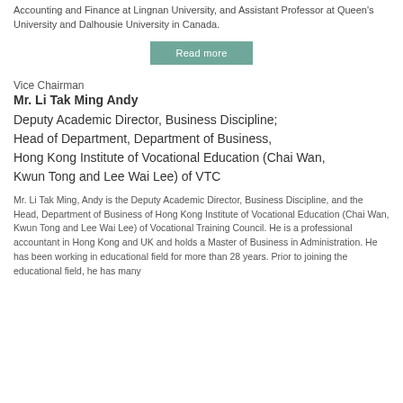Accounting and Finance at Lingnan University, and Assistant Professor at Queen's University and Dalhousie University in Canada.
Read more
Vice Chairman
Mr. Li Tak Ming Andy
Deputy Academic Director, Business Discipline; Head of Department, Department of Business, Hong Kong Institute of Vocational Education (Chai Wan, Kwun Tong and Lee Wai Lee) of VTC
Mr. Li Tak Ming, Andy is the Deputy Academic Director, Business Discipline, and the Head, Department of Business of Hong Kong Institute of Vocational Education (Chai Wan, Kwun Tong and Lee Wai Lee) of Vocational Training Council. He is a professional accountant in Hong Kong and UK and holds a Master of Business in Administration. He has been working in educational field for more than 28 years. Prior to joining the educational field, he has many